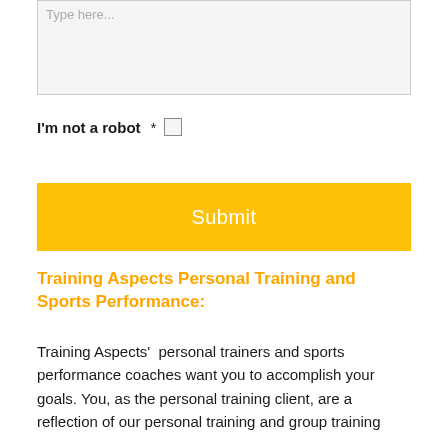Type here…
I'm not a robot  *  ☐
Submit
Training Aspects Personal Training and Sports Performance:
Training Aspects'  personal trainers and sports performance coaches want you to accomplish your goals. You, as the personal training client, are a reflection of our personal training and group training